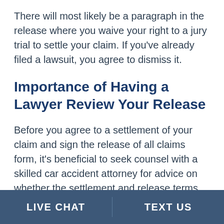There will most likely be a paragraph in the release where you waive your right to a jury trial to settle your claim. If you've already filed a lawsuit, you agree to dismiss it.
Importance of Having a Lawyer Review Your Release
Before you agree to a settlement of your claim and sign the release of all claims form, it's beneficial to seek counsel with a skilled car accident attorney for advice on whether the settlement and release terms are fair to you. Additionally, don't sign any other documents from the insurance company—such as a medical release—or agree to the
LIVE CHAT | TEXT US